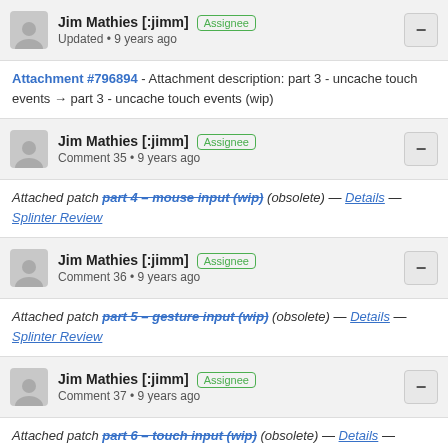Jim Mathies [:jimm] Assignee Updated • 9 years ago
Attachment #796894 - Attachment description: part 3 - uncache touch events → part 3 - uncache touch events (wip)
Jim Mathies [:jimm] Assignee Comment 35 • 9 years ago
Attached patch part 4 – mouse input (wip) (obsolete) — Details — Splinter Review
Jim Mathies [:jimm] Assignee Comment 36 • 9 years ago
Attached patch part 5 – gesture input (wip) (obsolete) — Details — Splinter Review
Jim Mathies [:jimm] Assignee Comment 37 • 9 years ago
Attached patch part 6 – touch input (wip) (obsolete) — Details — Splinter